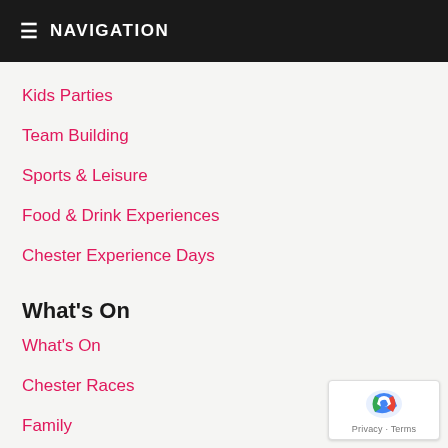≡ NAVIGATION
Kids Parties
Team Building
Sports & Leisure
Food & Drink Experiences
Chester Experience Days
What's On
What's On
Chester Races
Family